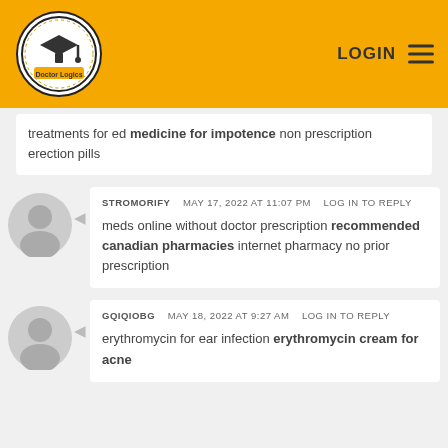Doctor Logics | LOGIN
treatments for ed medicine for impotence non prescription erection pills
STROMORIFY   MAY 17, 2022 AT 11:07 PM   LOG IN TO REPLY
meds online without doctor prescription recommended canadian pharmacies internet pharmacy no prior prescription
GQIQIOBG   MAY 18, 2022 AT 9:27 AM   LOG IN TO REPLY
erythromycin for ear infection erythromycin cream for acne